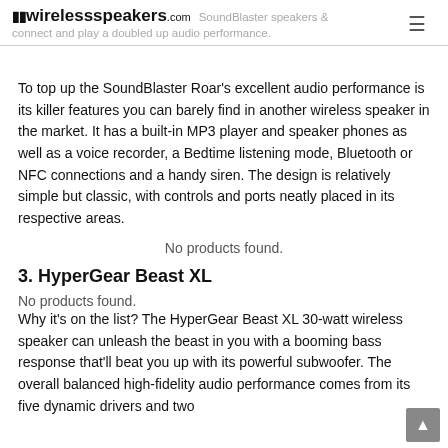wirelessspeakers.com SoundBlaster speakers connect and play a doubled up audio performance.
To top up the SoundBlaster Roar's excellent audio performance is its killer features you can barely find in another wireless speaker in the market. It has a built-in MP3 player and speaker phones as well as a voice recorder, a Bedtime listening mode, Bluetooth or NFC connections and a handy siren. The design is relatively simple but classic, with controls and ports neatly placed in its respective areas.
No products found.
3. HyperGear Beast XL
No products found.
Why it’s on the list? The HyperGear Beast XL 30-watt wireless speaker can unleash the beast in you with a booming bass response that’ll beat you up with its powerful subwoofer. The overall balanced high-fidelity audio performance comes from its five dynamic drivers and two